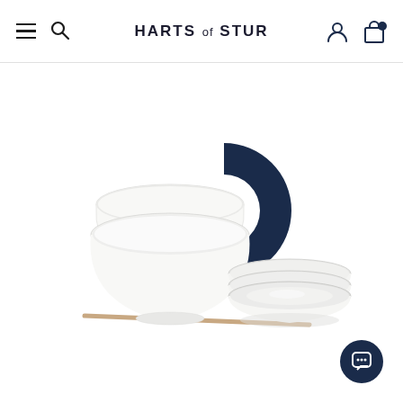HARTS of STUR
[Figure (photo): Product photo of a dinnerware set including two large white ceramic bowls stacked, two shallow white ceramic plates/bowls stacked, a pair of wooden chopsticks, and a large dark navy circular decorative element (partial ring/horseshoe shape) behind the bowls. All items are on a white background.]
[Figure (other): Dark navy circular chat/support button icon in the bottom-right corner of the page.]